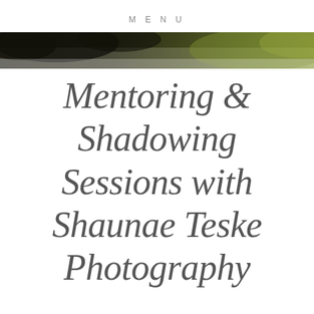MENU
[Figure (photo): Partial outdoor photo showing dark foliage and a green background, used as a decorative banner image.]
Mentoring & Shadowing Sessions with Shaunae Teske Photography